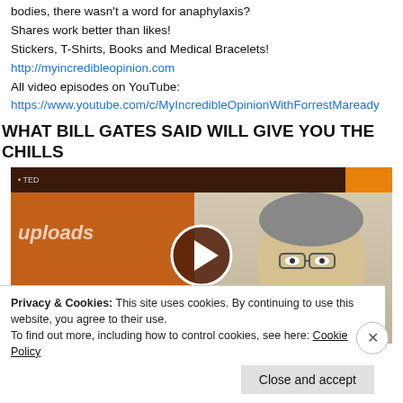bodies, there wasn't a word for anaphylaxis?
Shares work better than likes!
Stickers, T-Shirts, Books and Medical Bracelets!
http://myincredibleopinion.com
All video episodes on YouTube:
https://www.youtube.com/c/MyIncredibleOpinionWithForrestMaready
WHAT BILL GATES SAID WILL GIVE YOU THE CHILLS
[Figure (screenshot): Video thumbnail showing a man speaking at a podium with an orange background and a play button overlay]
Privacy & Cookies: This site uses cookies. By continuing to use this website, you agree to their use. To find out more, including how to control cookies, see here: Cookie Policy
Close and accept